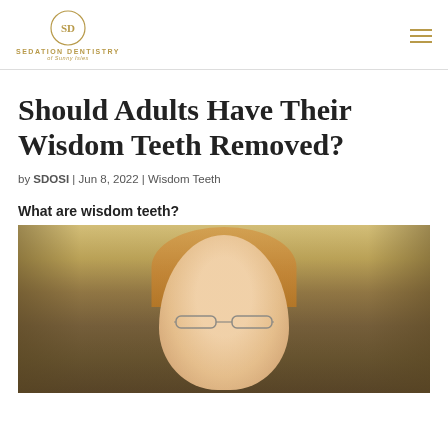SEDATION DENTISTRY of Sunny Isles [logo] [hamburger menu]
Should Adults Have Their Wisdom Teeth Removed?
by SDOSI | Jun 8, 2022 | Wisdom Teeth
What are wisdom teeth?
[Figure (photo): Smiling young woman with glasses and blonde-reddish hair, photographed outdoors near a wooden bench, bokeh background with warm golden tones.]